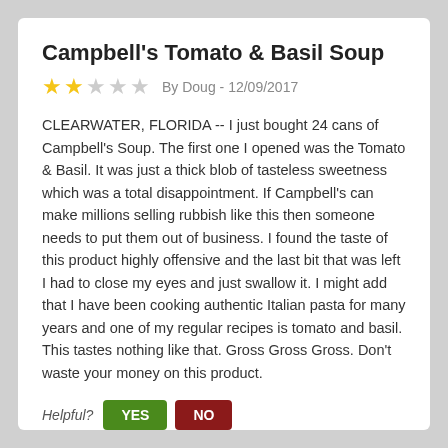Campbell's Tomato & Basil Soup
★★☆☆☆ By Doug - 12/09/2017
CLEARWATER, FLORIDA -- I just bought 24 cans of Campbell's Soup. The first one I opened was the Tomato & Basil. It was just a thick blob of tasteless sweetness which was a total disappointment. If Campbell's can make millions selling rubbish like this then someone needs to put them out of business. I found the taste of this product highly offensive and the last bit that was left I had to close my eyes and just swallow it. I might add that I have been cooking authentic Italian pasta for many years and one of my regular recipes is tomato and basil. This tastes nothing like that. Gross Gross Gross. Don't waste your money on this product.
Helpful? YES NO